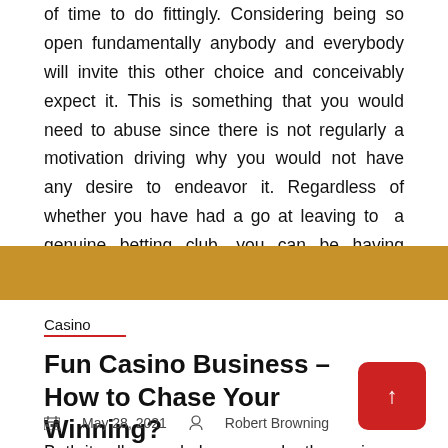of time to do fittingly. Considering being so open fundamentally anybody and everybody will invite this other choice and conceivably expect it. This is something that you would need to abuse since there is not regularly a motivation driving why you would not have any desire to endeavor it. Regardless of whether you have had a go at leaving to a genuine betting club, you can be having conviction that you will like this other choice.
[Figure (other): Gold/amber colored horizontal divider bar]
Casino
Fun Casino Business – How to Chase Your Winning?
May 28, 2021   Robert Browning
Both its allure and glamour make the casino an extremely